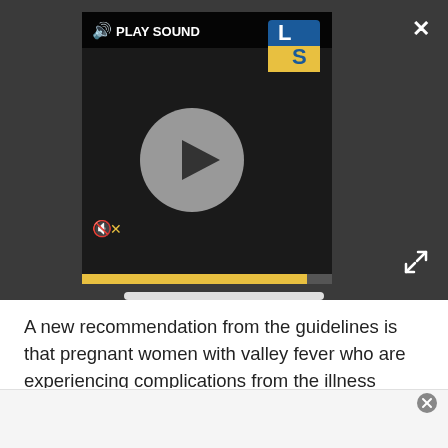[Figure (screenshot): Video player UI with play button, sound icon, PLAY SOUND label, LS logo, mute icon, and yellow progress bar on dark background]
A new recommendation from the guidelines is that pregnant women with valley fever who are experiencing complications from the illness should take the antifungal medication fluconazole if they are in their second or third trimester of pregnancy. (The medication was previously not recommended because it may be toxic to the fetus in the first trimester, but it appears to be safe in the second and third trimesters.)